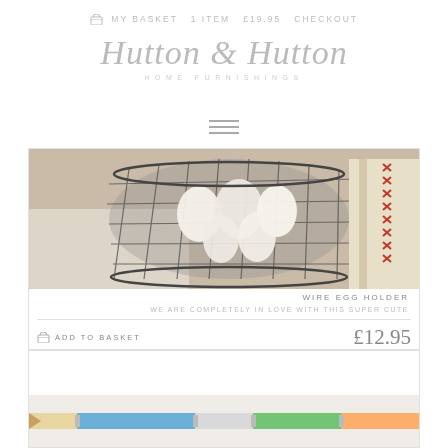MY BASKET  1 ITEM  £19.95  CHECKOUT
Hutton & Hutton HOME FURNISHINGS
[Figure (screenshot): Hamburger menu icon (three horizontal lines)]
[Figure (photo): Wire egg holder basket containing white decorative eggs, with a book/card visible on the right side]
WIRE EGG HOLDER
WE ARE COMPLETELY IN LOVE WITH THIS SUPER CUTE
ADD TO BASKET   £12.95
[Figure (photo): Partial view of colored pencils strip at the bottom of the page]